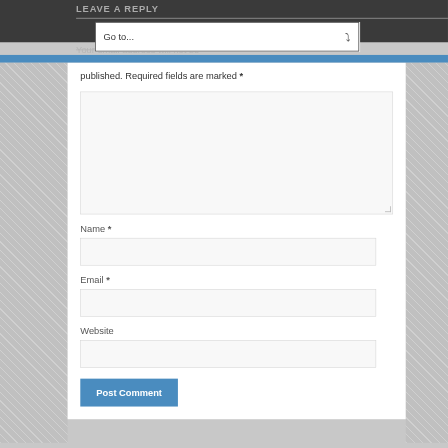LEAVE A REPLY
[Figure (screenshot): Go to... dropdown navigation widget]
Your email address will not be published. Required fields are marked *
Comment textarea (empty input box)
Name *
Email *
Website
Post Comment